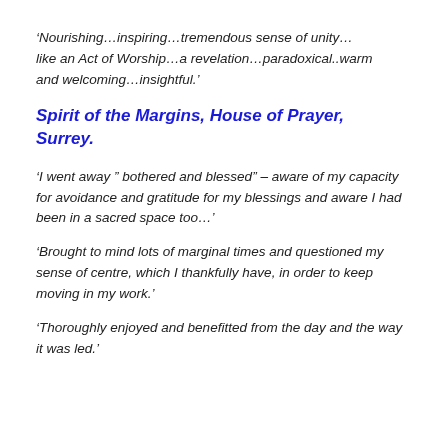‘Nourishing…inspiring…tremendous sense of unity…like an Act of Worship…a revelation…paradoxical..warm and welcoming…insightful.’
Spirit of the Margins, House of Prayer, Surrey.
‘I went away ” bothered and blessed” – aware of my capacity for avoidance and gratitude for my blessings and aware I had been in a sacred space too…’
‘Brought to mind lots of marginal times and questioned my sense of centre, which I thankfully have, in order to keep moving in my work.’
‘Thoroughly enjoyed and benefitted from the day and the way it was led.’